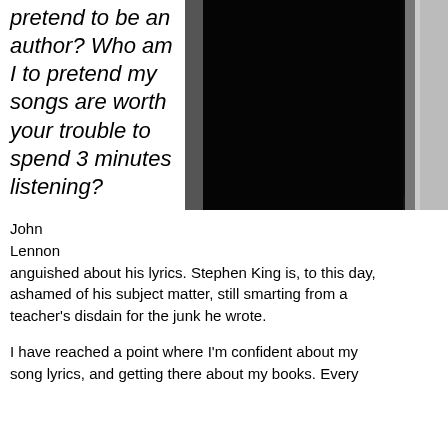pretend to be an author? Who am I to pretend my songs are worth your trouble to spend 3 minutes listening?
[Figure (photo): Black and white photograph showing a dark figure or clothing item against a light background]
John Lennon anguished about his lyrics. Stephen King is, to this day, ashamed of his subject matter, still smarting from a teacher's disdain for the junk he wrote.
I have reached a point where I'm confident about my song lyrics, and getting there about my books. Every